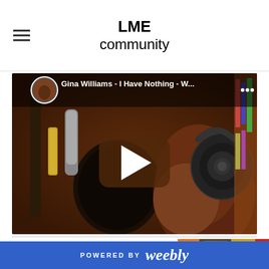LME community
[Figure (screenshot): YouTube video thumbnail showing a woman singing into a microphone with headphones. Title reads: Gina Williams - I Have Nothing - W... with a play button overlay and YouTube interface elements.]
Root n Branch are a harmony strong acoustic
[Figure (photo): Strip of colorful images on the right side: orange, illustrated portrait, decorative pattern, red.]
POWERED BY weebly